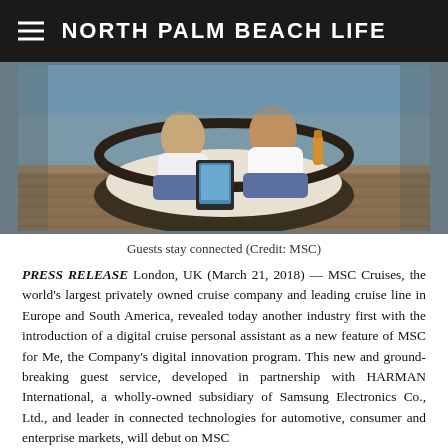NORTH PALM BEACH LIFE
[Figure (photo): Two people sitting in a round wicker outdoor lounge chair, one holding a tablet device, on a cruise ship deck.]
Guests stay connected (Credit: MSC)
PRESS RELEASE London, UK (March 21, 2018) — MSC Cruises, the world's largest privately owned cruise company and leading cruise line in Europe and South America, revealed today another industry first with the introduction of a digital cruise personal assistant as a new feature of MSC for Me, the Company's digital innovation program. This new and ground-breaking guest service, developed in partnership with HARMAN International, a wholly-owned subsidiary of Samsung Electronics Co., Ltd., and leader in connected technologies for automotive, consumer and enterprise markets, will debut on MSC